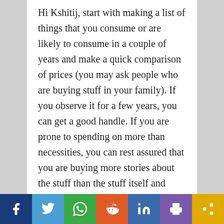Hi Kshitij, start with making a list of things that you consume or are likely to consume in a couple of years and make a quick comparison of prices (you may ask people who are buying stuff in your family). If you observe it for a few years, you can get a good handle. If you are prone to spending on more than necessities, you can rest assured that you are buying more stories about the stuff than the stuff itself and hence your personal inflation will be much higher than the stated regular inflation. 10% or 12% may be. IN other cases, as you upgrade your life style over the years, the things you consume change too. Rs. 20